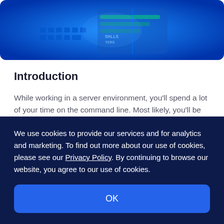[Figure (photo): A blue-toned photo showing a computer keyboard and book/document, with green highlighted text visible, representing a server/command line environment.]
Introduction
While working in a server environment, you'll spend a lot of your time on the command line. Most likely, you'll be using the bash shell, which is the default of most distributions.
We use cookies to provide our services and for analytics and marketing. To find out more about our use of cookies, please see our Privacy Policy. By continuing to browse our website, you agree to our use of cookies.
OK